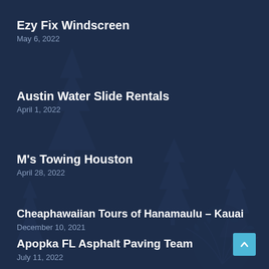Ezy Fix Windscreen
May 6, 2022
Austin Water Slide Rentals
April 1, 2022
M's Towing Houston
April 28, 2022
Cheaphawaiian Tours of Hanamaulu – Kauai
December 10, 2021
Apopka FL Asphalt Paving Team
July 11, 2022